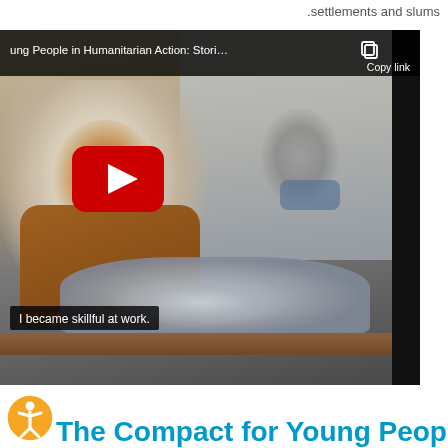.settlements and slums
[Figure (screenshot): YouTube video screenshot showing a young woman in a hijab working with fabric/clothing at a workshop. A YouTube play button is visible in the center. The video title reads 'ung People in Humanitarian Action: Stori...' with a Copy link option in the top right. A subtitle reads 'I became skillful at work.' An accessibility icon appears at the bottom left.]
The Compact for Young People in